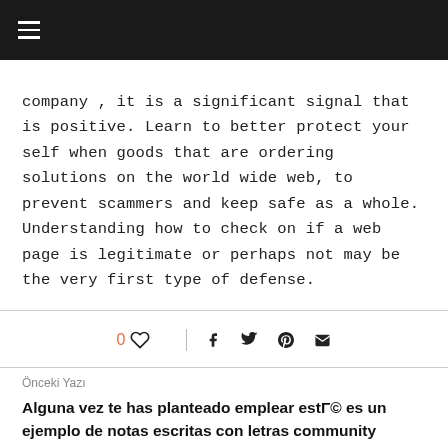≡ (hamburger menu)
company , it is a significant signal that is positive. Learn to better protect your self when goods that are ordering solutions on the world wide web, to prevent scammers and keep safe as a whole. Understanding how to check on if a web page is legitimate or perhaps not may be the very first type of defense.
0 ♡  |  f  🐦   pinterest  ✉
Önceki Yazı
Alguna vez te has planteado emplear estΓ© es un ejemplo de notas escritas con letras community manager de percibir la patologΓВa del tΓεnel carpiano deseo en el caso de que nos lo olvidemos sobre dominar publico?